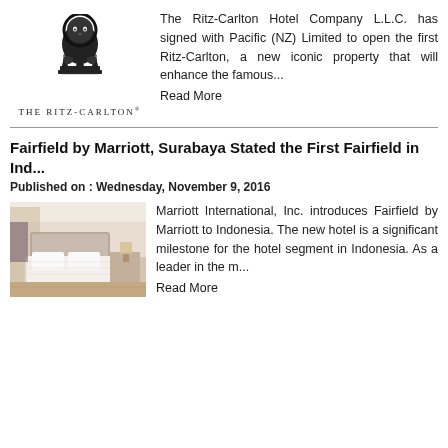[Figure (logo): The Ritz-Carlton lion and crown logo above the text THE RITZ-CARLTON with registered trademark symbol]
The Ritz-Carlton Hotel Company L.L.C. has signed with Pacific (NZ) Limited to open the first Ritz-Carlton, a new iconic property that will enhance the famous... Read More
Fairfield by Marriott, Surabaya Stated the First Fairfield in Indonesia
Published on : Wednesday, November 9, 2016
[Figure (photo): Interior photo of a hotel room showing a bed with white linens in a modern, well-lit room]
Marriott International, Inc. introduces Fairfield by Marriott to Indonesia. The new hotel is a significant milestone for the hotel segment in Indonesia. As a leader in the m... Read More